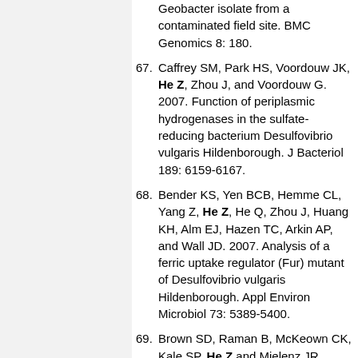(continued) Geobacter isolate from a contaminated field site. BMC Genomics 8: 180.
67. Caffrey SM, Park HS, Voordouw JK, He Z, Zhou J, and Voordouw G. 2007. Function of periplasmic hydrogenases in the sulfate-reducing bacterium Desulfovibrio vulgaris Hildenborough. J Bacteriol 189: 6159-6167.
68. Bender KS, Yen BCB, Hemme CL, Yang Z, He Z, He Q, Zhou J, Huang KH, Alm EJ, Hazen TC, Arkin AP, and Wall JD. 2007. Analysis of a ferric uptake regulator (Fur) mutant of Desulfovibrio vulgaris Hildenborough. Appl Environ Microbiol 73: 5389-5400.
69. Brown SD, Raman B, McKeown CK, Kale SP, He Z and Mielenz JR. 2007. Construction and evaluation of a Clostridium thermocellum ATCC 27405 whole-genome oligonucleotide microarray. Appl Biochem Biotechnol 137-140: 663-674.
70. Gentry TJ, Schadt CW, He Z, and Zhou J. 2007. Functional gene arrays for